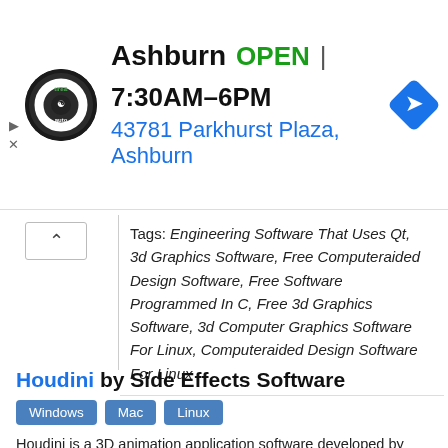[Figure (infographic): Ad banner: tire and auto service logo (circular black badge), business name Ashburn, OPEN status in green, hours 7:30AM-6PM, address 43781 Parkhurst Plaza, Ashburn in blue, blue diamond navigation arrow icon on right. Collapse/close controls on far left.]
Tags: Engineering Software That Uses Qt, 3d Graphics Software, Free Computeraided Design Software, Free Software Programmed In C, Free 3d Graphics Software, 3d Computer Graphics Software For Linux, Computeraided Design Software For Linux
Houdini by Side Effects Software
Windows  Mac  Linux
Houdini is a 3D animation application software developed by Side Effects Software based in Toronto. Side Effects adapted Houdini from the PRISMS suite of procedural generation software tools. Its...
Latest version of Houdini is 16 and it was